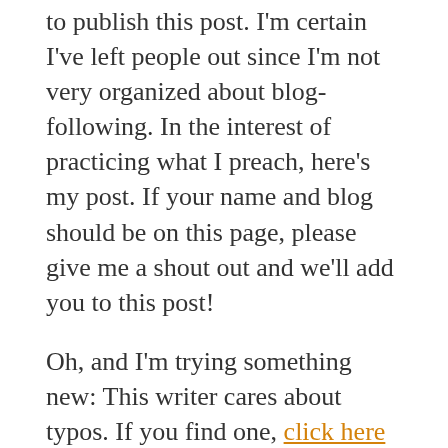to publish this post. I'm certain I've left people out since I'm not very organized about blog-following. In the interest of practicing what I preach, here's my post. If your name and blog should be on this page, please give me a shout out and we'll add you to this post!
Oh, and I'm trying something new: This writer cares about typos. If you find one, click here to be part of the EditMob – it's anonymous.
Comments? Questions? I'd love to hear form you below.
Filed Under: Author's Platform, More..., Writing Blogs
Tagged With: arts blogs, author blogs, Blogging, creativity blogs, Robert Kliegman, science, self-esteem,